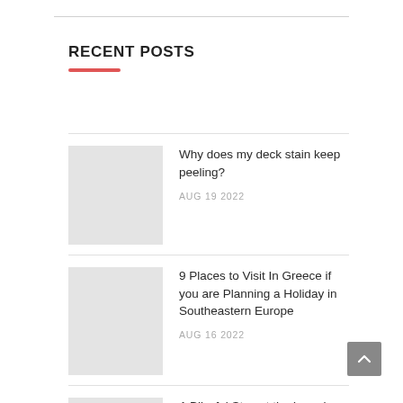RECENT POSTS
Why does my deck stain keep peeling? AUG 19 2022
9 Places to Visit In Greece if you are Planning a Holiday in Southeastern Europe AUG 16 2022
A Blissful Stay at the Luxurious L'Auberge Casino Resort in Lake Charles, Louisiana AUG 12 2022